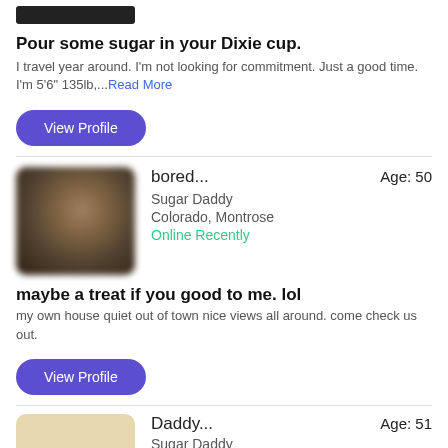Pour some sugar in your Dixie cup.
I travel year around. I'm not looking for commitment. Just a good time. I'm 5'6" 135lb,...Read More
View Profile
[Figure (photo): Profile photo placeholder (blurred/dark image at top)]
bored...  Age: 50
Sugar Daddy
Colorado, Montrose
Online Recently
maybe a treat if you good to me. lol
my own house quiet out of town nice views all around. come check us out.
View Profile
[Figure (photo): Profile photo of a person (blurred face), appears to be outdoors]
Daddy...  Age: 51
Sugar Daddy